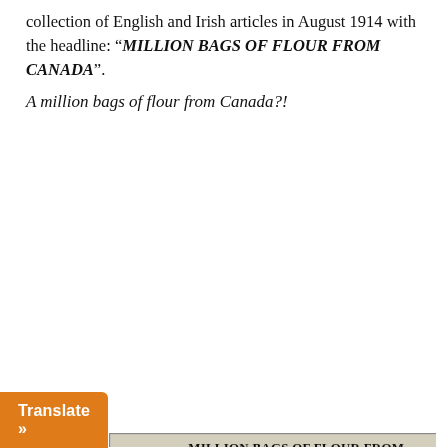collection of English and Irish articles in August 1914 with the headline: "MILLION BAGS OF FLOUR FROM CANADA".
A million bags of flour from Canada?!
[Figure (photo): Scanned newspaper clipping with headline 'MILLION BAGS OF FLOUR FROM CANADA.' containing text about the Board of Trade announcing telegraphic communications between the Duke of Connaught, Governor-General of Canada, and the Secretary for the Colonies, offering one million bags of flour of ninety-eight pounds each as a gift to the people of the United Kingdom.]
Translate »